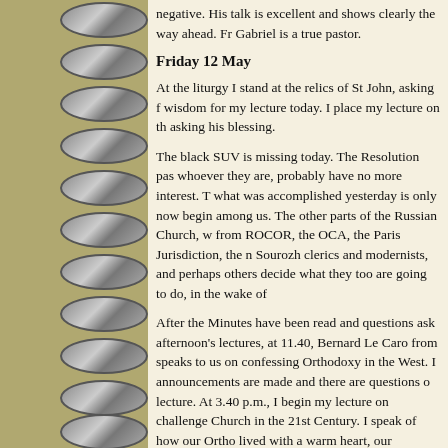negative. His talk is excellent and shows clearly the way ahead. Fr Gabriel is a true pastor.
Friday 12 May
At the liturgy I stand at the relics of St John, asking for wisdom for my lecture today. I place my lecture on the relics, asking his blessing.
The black SUV is missing today. The Resolution passed, whoever they are, probably have no more interest. The significance of what was accomplished yesterday is only now beginning to sink in among us. The other parts of the Russian Church, whether from ROCOR, the OCA, the Paris Jurisdiction, the modernist Sourozh clerics and modernists, and perhaps others, will have to decide what they too are going to do, in the wake of
After the Minutes have been read and questions asked about afternoon's lectures, at 11.40, Bernard Le Caro from France speaks to us on confessing Orthodoxy in the West. Lunch announcements are made and there are questions on the morning lecture. At 3.40 p.m., I begin my lecture on challenges to the Church in the 21st Century. I speak of how our Orthodoxy must be lived with a warm heart, our Tradition must be lived with a warm heart, our Independence must be lived with compassion. These are the values of Holy Russia, and only these can fa